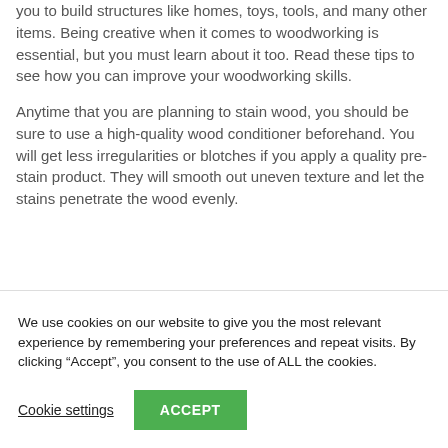you to build structures like homes, toys, tools, and many other items. Being creative when it comes to woodworking is essential, but you must learn about it too. Read these tips to see how you can improve your woodworking skills.
Anytime that you are planning to stain wood, you should be sure to use a high-quality wood conditioner beforehand. You will get less irregularities or blotches if you apply a quality pre-stain product. They will smooth out uneven texture and let the stains penetrate the wood evenly.
We use cookies on our website to give you the most relevant experience by remembering your preferences and repeat visits. By clicking “Accept”, you consent to the use of ALL the cookies.
Cookie settings
ACCEPT